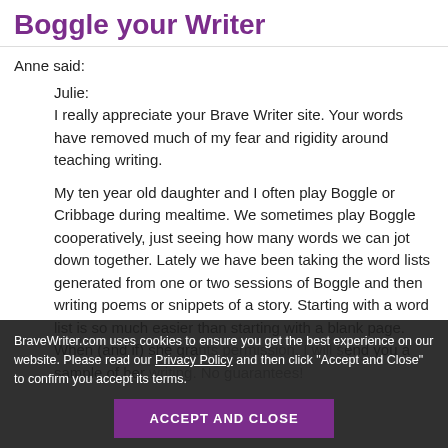Boggle your Writer
Anne said:
Julie:
I really appreciate your Brave Writer site. Your words have removed much of my fear and rigidity around teaching writing.

My ten year old daughter and I often play Boggle or Cribbage during mealtime. We sometimes play Boggle cooperatively, just seeing how many words we can jot down together. Lately we have been taking the word lists generated from one or two sessions of Boggle and then writing poems or snippets of a story. Starting with a word list is so much easier than starting with a blank page. When (and if) she grants permission, I will send you a sample of her writing. No guarantees!
BraveWriter.com uses cookies to ensure you get the best experience on our website. Please read our Privacy Policy and then click “Accept and Close” to confirm you accept its terms.
ACCEPT AND CLOSE